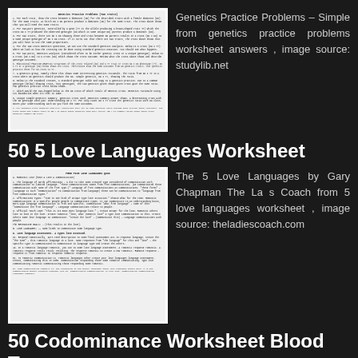[Figure (screenshot): Thumbnail of Genetics Practice Problems worksheet]
Genetics Practice Problems – Simple from genetics practice problems worksheet answers , image source: studylib.net
50 5 Love Languages Worksheet
[Figure (screenshot): Thumbnail of 5 Love Languages worksheet by Gary Chapman]
The 5 Love Languages by Gary Chapman The La s Coach from 5 love languages worksheet , image source: theladiescoach.com
50 Codominance Worksheet Blood Types